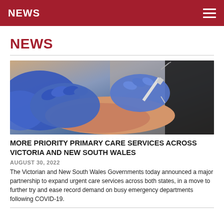NEWS
NEWS
[Figure (photo): Close-up photograph of a healthcare worker in blue gloves administering a vaccine injection into a person's arm against a blue garment background.]
MORE PRIORITY PRIMARY CARE SERVICES ACROSS VICTORIA AND NEW SOUTH WALES
AUGUST 30, 2022
The Victorian and New South Wales Governments today announced a major partnership to expand urgent care services across both states, in a move to further try and ease record demand on busy emergency departments following COVID-19.